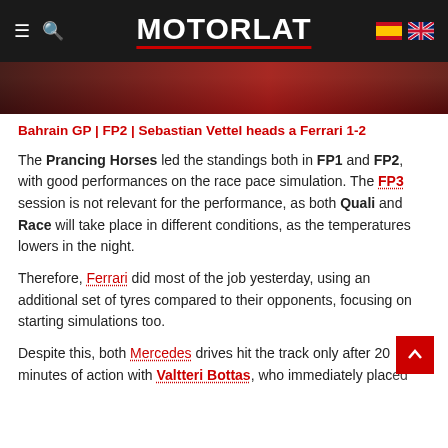MOTORLAT
[Figure (photo): Partial view of a Ferrari Formula 1 car, red color, hero image banner]
Bahrain GP | FP2 | Sebastian Vettel heads a Ferrari 1-2
The Prancing Horses led the standings both in FP1 and FP2, with good performances on the race pace simulation. The FP3 session is not relevant for the performance, as both Quali and Race will take place in different conditions, as the temperatures lowers in the night.
Therefore, Ferrari did most of the job yesterday, using an additional set of tyres compared to their opponents, focusing on starting simulations too.
Despite this, both Mercedes drives hit the track only after 20 minutes of action with Valtteri Bottas, who immediately placed himself at top of the leaderboard, even with...